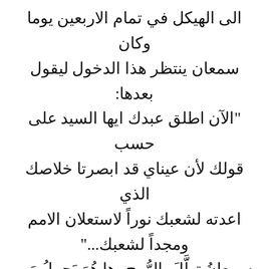الى الهيكل في تمام الاربعين يوما وكان سمعان ينتظر هذا الدخول ليقول بعدها: "الآن اطلق عبدك ايها السيد على حسب قولك لأن عيناي قد ابصرتا خلاصك الذي اعدته لشعبك نوراً لاستعلان الامم ومجداً لشعبك..." سمعانُ تهلَّلَ بالرُّوح. ها هُوَ يَحمِلُ مَن انتَظَرهُ سنينَ طِوال، وَيَلتقي بِمَن كانت روحُهُ تَلهَجُ به. فانطلَقَ لسانُه يُنشِدُ خلحات قلبِه وبشدو نشيدًا تتناقله